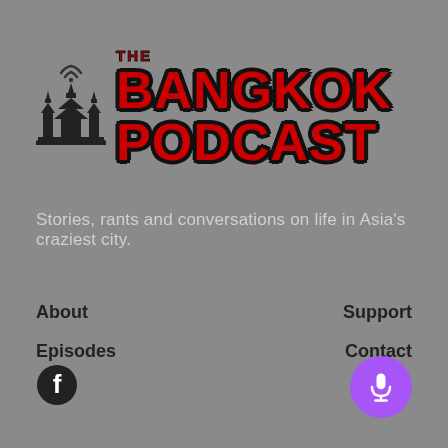[Figure (logo): The Bangkok Podcast logo with temple silhouette and wifi icon, red bold text on grey background]
Stories, rants and conversations on life in Asia's craziest city.
About
Support
Episodes
Contact
[Figure (logo): Facebook icon (circular F logo)]
[Figure (illustration): Purple circular button with microphone icon]